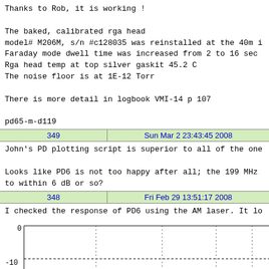Thanks to Rob, it is working !

The baked, calibrated rga head
model# M206M, s/n #c128035 was reinstalled at the 40m i
Faraday mode dwell time was increased from 2 to 16 sec
Rga head temp at top silver gaskit 45.2 C
The noise floor is at 1E-12 Torr

There is more detail in logbook VMI-14 p 107

pd65-m-d119
| 349 | Sun Mar 2 23:43:45 2008 |
| --- | --- |
John's PD plotting script is superior to all of the one

Looks like PD6 is not too happy after all; the 199 MHz
to within 6 dB or so?
| 348 | Fri Feb 29 13:51:17 2008 |
| --- | --- |
I checked the response of PD6 using the AM laser. It lo
[Figure (continuous-plot): Partial plot showing y-axis with 0 at top and -10 below, with dotted grid lines extending to the right]